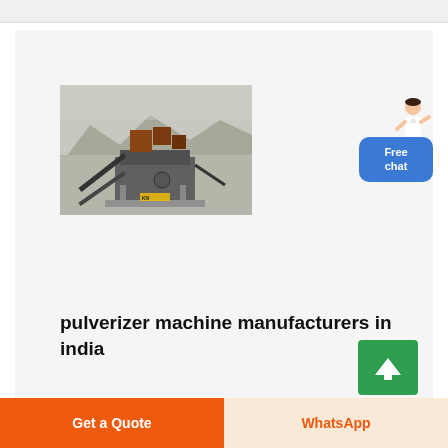[Figure (photo): Industrial quarry crushing/pulverizer machine plant with conveyor belts in a rocky mountainous area]
[Figure (illustration): Customer service person (woman) and blue 'Free chat' button widget in top right corner]
pulverizer machine manufacturers in india
[Figure (other): Green scroll-to-top button with upward arrow]
Get a Quote
WhatsApp